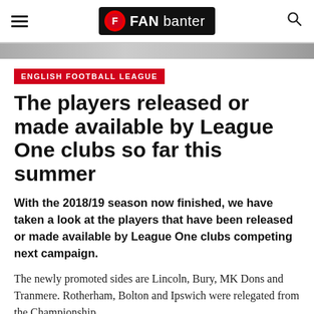FAN banter
ENGLISH FOOTBALL LEAGUE
The players released or made available by League One clubs so far this summer
With the 2018/19 season now finished, we have taken a look at the players that have been released or made available by League One clubs competing next campaign.
The newly promoted sides are Lincoln, Bury, MK Dons and Tranmere. Rotherham, Bolton and Ipswich were relegated from the Championship.